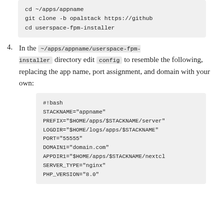[Figure (screenshot): Code block showing: cd ~/apps/appname
git clone -b opalstack https://github
cd userspace-fpm-installer]
4. In the ~/apps/appname/userspace-fpm-installer directory edit config to resemble the following, replacing the app name, port assignment, and domain with your own:
[Figure (screenshot): Code block showing bash script:
#!bash
STACKNAME="appname"
PREFIX="$HOME/apps/$STACKNAME/server"
LOGDIR="$HOME/logs/apps/$STACKNAME"
PORT="55555"
DOMAIN1="domain.com"
APPDIR1="$HOME/apps/$STACKNAME/nextcl
SERVER_TYPE="nginx"
PHP_VERSION="8.0"]